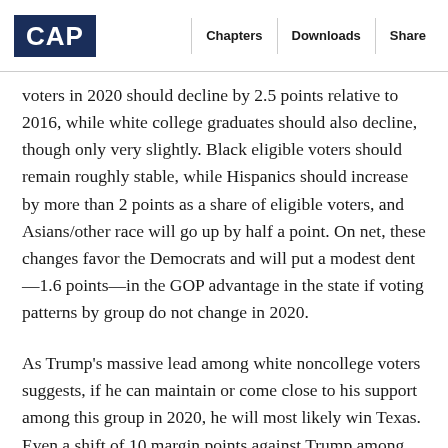CAP | Chapters | Downloads | Share
voters in 2020 should decline by 2.5 points relative to 2016, while white college graduates should also decline, though only very slightly. Black eligible voters should remain roughly stable, while Hispanics should increase by more than 2 points as a share of eligible voters, and Asians/other race will go up by half a point. On net, these changes favor the Democrats and will put a modest dent—1.6 points—in the GOP advantage in the state if voting patterns by group do not change in 2020.
As Trump's massive lead among white noncollege voters suggests, if he can maintain or come close to his support among this group in 2020, he will most likely win Texas. Even a shift of 10 margin points against Trump among white college graduates, continuing a